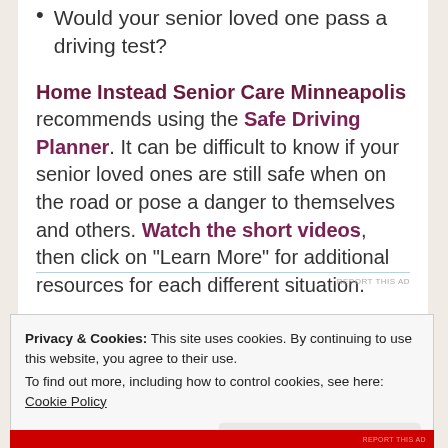Would your senior loved one pass a driving test?
Home Instead Senior Care Minneapolis recommends using the Safe Driving Planner. It can be difficult to know if your senior loved ones are still safe when on the road or pose a danger to themselves and others. Watch the short videos, then click on “Learn More” for additional resources for each different situation.
Privacy & Cookies: This site uses cookies. By continuing to use this website, you agree to their use.
To find out more, including how to control cookies, see here: Cookie Policy
Close and accept